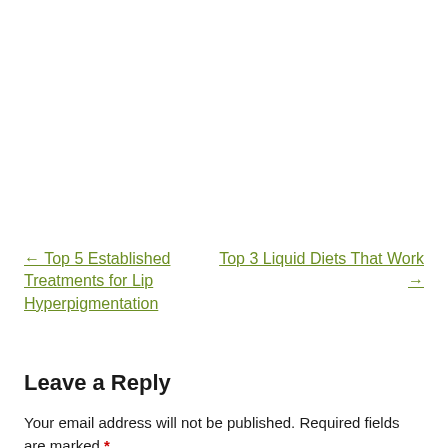← Top 5 Established Treatments for Lip Hyperpigmentation
Top 3 Liquid Diets That Work →
Leave a Reply
Your email address will not be published. Required fields are marked *